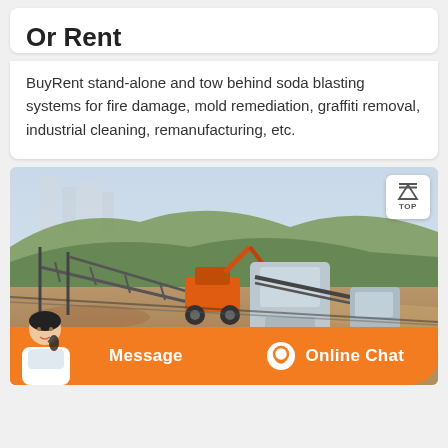Or Rent
BuyRent stand-alone and tow behind soda blasting systems for fire damage, mold remediation, graffiti removal, industrial cleaning, remanufacturing, etc.
[Figure (photo): Outdoor construction/quarry site with heavy machinery including an orange excavator, conveyor belts on a hillside with mountains and buildings in background]
Message
Online Chat